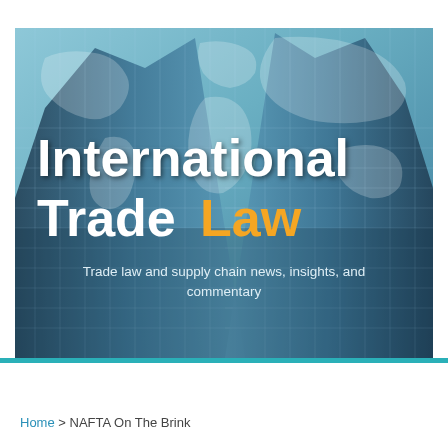[Figure (photo): Banner image showing skyscrapers viewed from below against a sky with world map overlay. Contains text: 'International Trade Law' and subtitle 'Trade law and supply chain news, insights, and commentary']
International Trade Law
Trade law and supply chain news, insights, and commentary
Home > NAFTA On The Brink